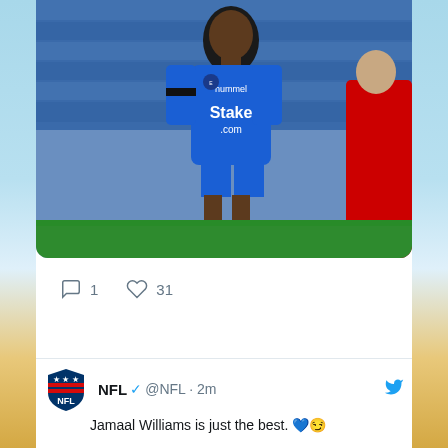[Figure (photo): Soccer player in blue Everton jersey with Stake.com sponsor, photographed during a match with crowd in background. A player in red is partially visible on the right.]
1  31
[Figure (logo): NFL shield logo]
NFL ✓ @NFL · 2m
Jamaal Williams is just the best. 💙😏

@jswaggdaddy | @Lions

📱 : Stream #DETvsIND at 1pm ET on NFL+
bit.ly/3POvRB0
[Figure (screenshot): Screenshot of NFL game broadcast showing stadium interior with blue seats and fans, text overlay showing '144 NEED ASSISTANCE' and 'TEXT' on scoreboard/signage.]